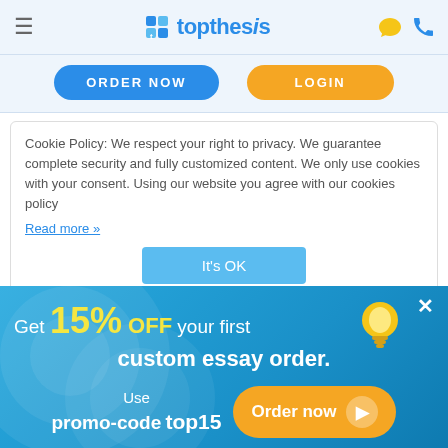topthesis — navigation header with hamburger menu, logo, chat and phone icons
ORDER NOW | LOGIN
Cookie Policy: We respect your right to privacy. We guarantee complete security and fully customized content. We only use cookies with your consent. Using our website you agree with our cookies policy Read more »
It's OK
according to the latest writing standards in your field.
Order Scholarship Essay from Us
Get 15% OFF your first custom essay order. Use promo-code top15 Order now